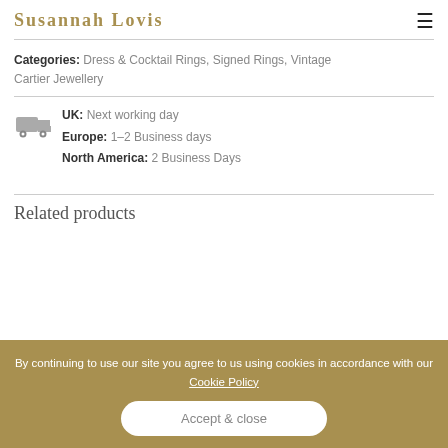Susannah Lovis
Categories: Dress & Cocktail Rings, Signed Rings, Vintage Cartier Jewellery
UK: Next working day
Europe: 1-2 Business days
North America: 2 Business Days
Related products
By continuing to use our site you agree to us using cookies in accordance with our Cookie Policy
Accept & close